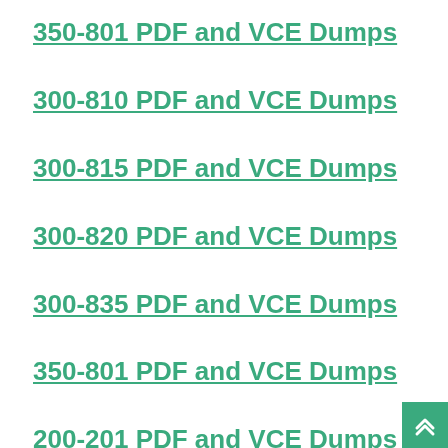350-801 PDF and VCE Dumps
300-810 PDF and VCE Dumps
300-815 PDF and VCE Dumps
300-820 PDF and VCE Dumps
300-835 PDF and VCE Dumps
350-801 PDF and VCE Dumps
200-201 PDF and VCE Dumps
350-601 PDF and VCE Dumps